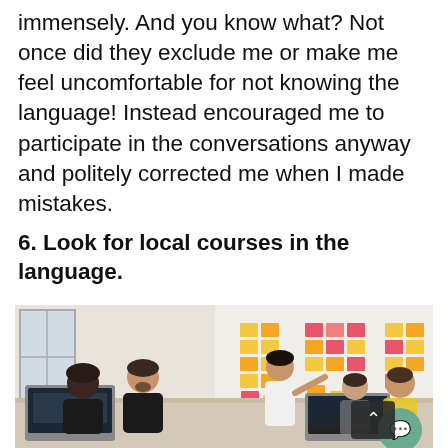immensely. And you know what? Not once did they exclude me or make me feel uncomfortable for not knowing the language! Instead encouraged me to participate in the conversations anyway and politely corrected me when I made mistakes.
6. Look for local courses in the language.
[Figure (photo): A classroom or workshop scene. A woman in a white top is pointing at a wall covered in colorful sticky notes (yellow, pink, orange). Several people are seated around a table with laptops open, watching her present. The setting appears to be a modern, bright office or learning space.]